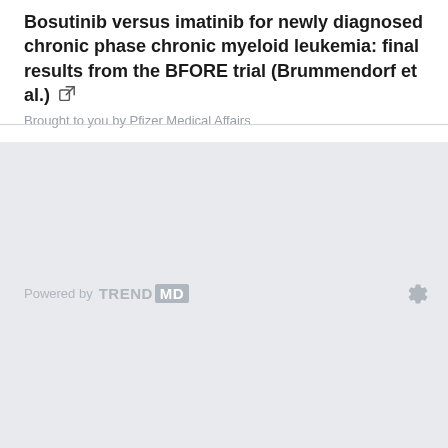Bosutinib versus imatinib for newly diagnosed chronic phase chronic myeloid leukemia: final results from the BFORE trial (Brummendorf et al.)
Brought to you by Pfizer Medical Affairs
[Figure (logo): Powered by TRENDMD logo with gear/settings icon]